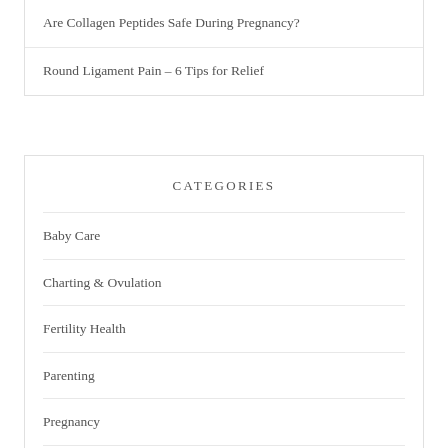Are Collagen Peptides Safe During Pregnancy?
Round Ligament Pain – 6 Tips for Relief
CATEGORIES
Baby Care
Charting & Ovulation
Fertility Health
Parenting
Pregnancy
Trying to Conceive (TTC)